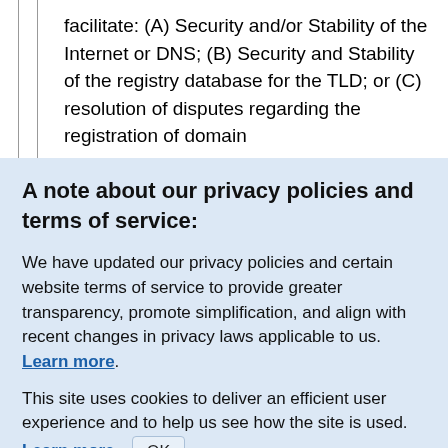facilitate: (A) Security and/or Stability of the Internet or DNS; (B) Security and Stability of the registry database for the TLD; or (C) resolution of disputes regarding the registration of domain
A note about our privacy policies and terms of service:
We have updated our privacy policies and certain website terms of service to provide greater transparency, promote simplification, and align with recent changes in privacy laws applicable to us. Learn more.
This site uses cookies to deliver an efficient user experience and to help us see how the site is used. Learn more. OK